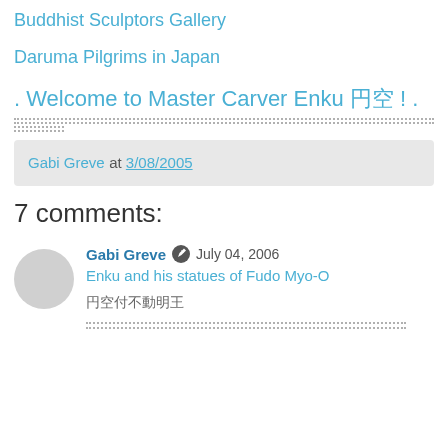Buddhist Sculptors Gallery
Daruma Pilgrims in Japan
. Welcome to Master Carver Enku 円空 ! .
Gabi Greve at 3/08/2005
7 comments:
Gabi Greve  July 04, 2006
Enku and his statues of Fudo Myo-O
円空仏不動明王